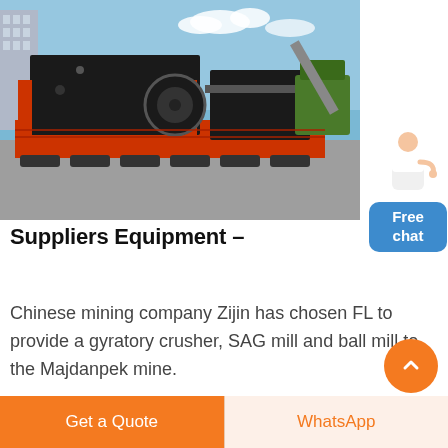[Figure (photo): Industrial mining equipment — large crushers and mills mounted on flatbed transport trucks in an outdoor industrial yard, with buildings and blue sky in the background.]
Suppliers Equipment –
Chinese mining company Zijin has chosen FL to provide a gyratory crusher, SAG mill and ball mill to the Majdanpek mine.